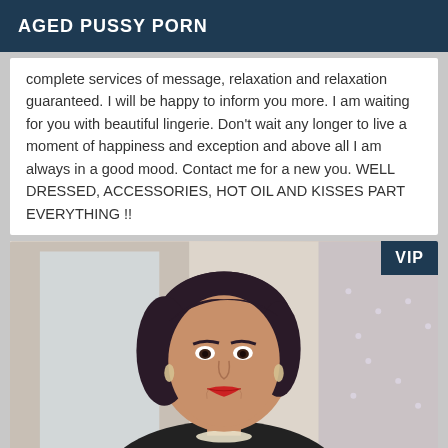AGED PUSSY PORN
complete services of message, relaxation and relaxation guaranteed. I will be happy to inform you more. I am waiting for you with beautiful lingerie. Don't wait any longer to live a moment of happiness and exception and above all I am always in a good mood. Contact me for a new you. WELL DRESSED, ACCESSORIES, HOT OIL AND KISSES PART EVERYTHING !!
[Figure (photo): Portrait photo of a woman with dark hair wearing a black sleeveless top and necklace, smiling at camera. VIP badge in top right corner.]